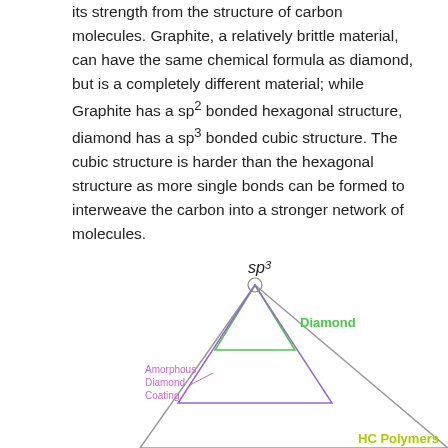its strength from the structure of carbon molecules. Graphite, a relatively brittle material, can have the same chemical formula as diamond, but is a completely different material; while Graphite has a sp² bonded hexagonal structure, diamond has a sp³ bonded cubic structure. The cubic structure is harder than the hexagonal structure as more single bonds can be formed to interweave the carbon into a stronger network of molecules.
[Figure (other): Ternary/triangular diagram showing sp³ at the apex with a circle marker, with a smaller green triangle labeled Diamond near the top, a purple/violet triangle labeled Amorphous Diamond Coating in the middle, and a large outer triangle. Labels: sp³ at top, Diamond in green on right side, Amorphous Diamond Coating in purple on left, HC Polymers in yellow-green at bottom right.]